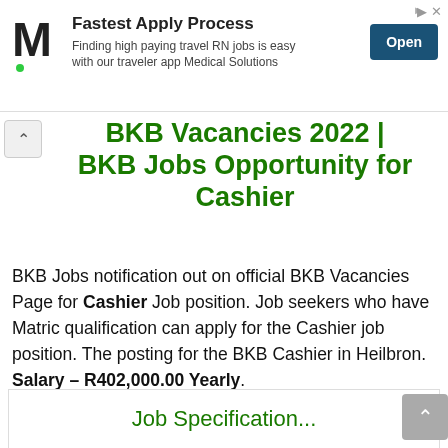[Figure (other): Advertisement banner: Medical Solutions logo (M), headline 'Fastest Apply Process', subtext 'Finding high paying travel RN jobs is easy with our traveler app Medical Solutions', and an 'Open' button]
BKB Vacancies 2022 | BKB Jobs Opportunity for Cashier
BKB Jobs notification out on official BKB Vacancies Page for Cashier Job position. Job seekers who have Matric qualification can apply for the Cashier job position. The posting for the BKB Cashier in Heilbron. Salary – R402,000.00 Yearly.
Job Specification...